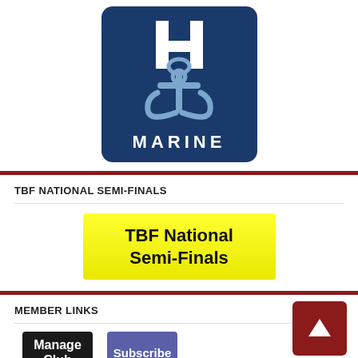[Figure (logo): Marine organization logo: dark navy blue rounded square with white anchor and 'H' symbol, light blue anchor graphic, white text 'MARINE' at bottom]
TBF NATIONAL SEMI-FINALS
[Figure (illustration): Yellow button/banner with bold black text reading 'TBF National Semi-Finals']
MEMBER LINKS
[Figure (illustration): Dark button with white bold text 'Manage Club']
[Figure (illustration): Purple/blue button with white text 'Subscribe']